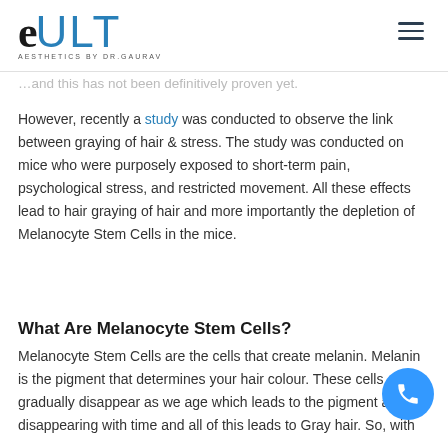eULT AESTHETICS BY DR GAURAV
…and this has not been definitively proven yet.
However, recently a study was conducted to observe the link between graying of hair & stress. The study was conducted on mice who were purposely exposed to short-term pain, psychological stress, and restricted movement. All these effects lead to hair graying of hair and more importantly the depletion of Melanocyte Stem Cells in the mice.
What Are Melanocyte Stem Cells?
Melanocyte Stem Cells are the cells that create melanin. Melanin is the pigment that determines your hair colour. These cells gradually disappear as we age which leads to the pigment also disappearing with time and all of this leads to Gray hair. So, with